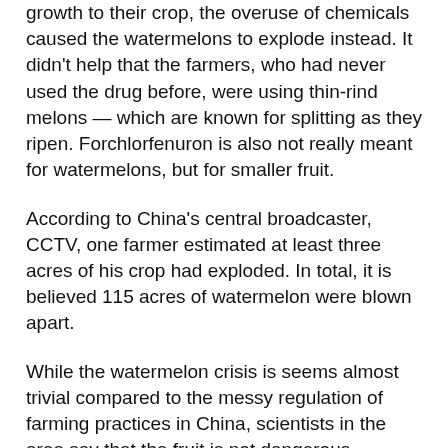growth to their crop, the overuse of chemicals caused the watermelons to explode instead. It didn't help that the farmers, who had never used the drug before, were using thin-rind melons — which are known for splitting as they ripen. Forchlorfenuron is also not really meant for watermelons, but for smaller fruit.
According to China's central broadcaster, CCTV, one farmer estimated at least three acres of his crop had exploded. In total, it is believed 115 acres of watermelon were blown apart.
While the watermelon crisis is seems almost trivial compared to the messy regulation of farming practices in China, scientists in the area say that the fruit is not dangerous — besides a bit of stomach irritation if ingested.
“In general we don’t suggest chemicals with plant hormones be used on watermelons, as they are very sensitive. They might end up looking very strange and people will not want to buy them,” Cui Jian, director of the vegetable research institute at Qingdao Academy of Agricultural Science told